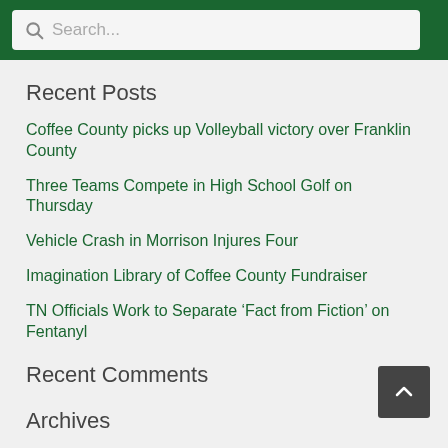Search...
Recent Posts
Coffee County picks up Volleyball victory over Franklin County
Three Teams Compete in High School Golf on Thursday
Vehicle Crash in Morrison Injures Four
Imagination Library of Coffee County Fundraiser
TN Officials Work to Separate ‘Fact from Fiction’ on Fentanyl
Recent Comments
Archives
September 2022
August 2022